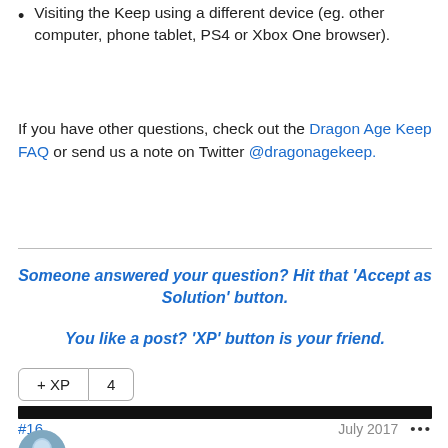Visiting the Keep using a different device (eg. other computer, phone tablet, PS4 or Xbox One browser).
If you have other questions, check out the Dragon Age Keep FAQ or send us a note on Twitter @dragonagekep.
Someone answered your question? Hit that 'Accept as Solution' button.

You like a post? 'XP' button is your friend.
+ XP  4
#16  July 2017  •••
EA_Mage